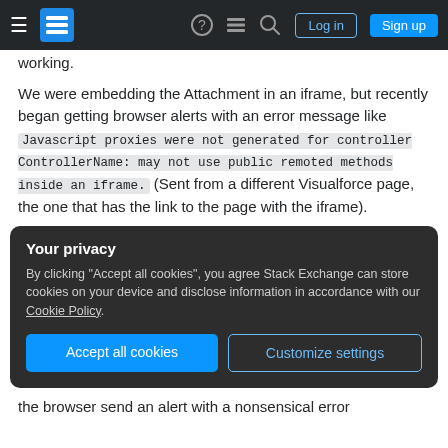Stack Exchange navigation bar with Log in and Sign up buttons
working.
We were embedding the Attachment in an iframe, but recently began getting browser alerts with an error message like Javascript proxies were not generated for controller ControllerName: may not use public remoted methods inside an iframe. (Sent from a different Visualforce page, the one that has the link to the page with the iframe).
Your privacy
By clicking "Accept all cookies", you agree Stack Exchange can store cookies on your device and disclose information in accordance with our Cookie Policy.
the browser send an alert with a nonsensical error